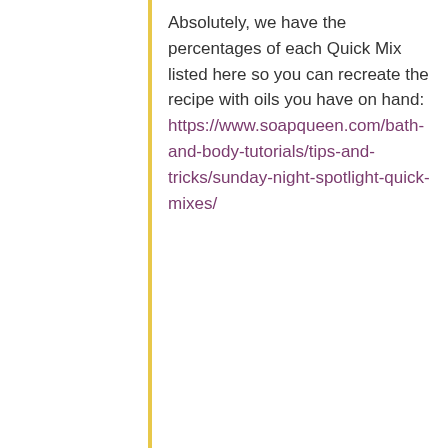Absolutely, we have the percentages of each Quick Mix listed here so you can recreate the recipe with oils you have on hand: https://www.soapqueen.com/bath-and-body-tutorials/tips-and-tricks/sunday-night-spotlight-quick-mixes/
-Kelsey with Bramble Berry
[Figure (illustration): Circular avatar icon with dark purple/maroon background and white lotus/flower symbol]
Sandra says
August 28, 2017 at 8:53 pm
How is it possible to use “Party Pink Mica in this CP soap if the PPM disappears? I have used PPM once in